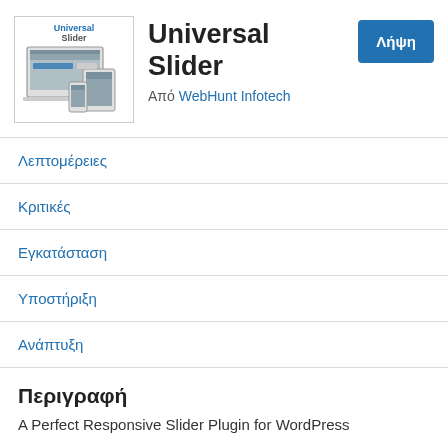[Figure (screenshot): Universal Slider plugin logo showing responsive devices (desktop, tablet, phone) with slider UI]
Universal Slider
Από WebHunt Infotech
Λήψη
Λεπτομέρειες
Κριτικές
Εγκατάσταση
Υποστήριξη
Ανάπτυξη
Περιγραφή
A Perfect Responsive Slider Plugin for WordPress